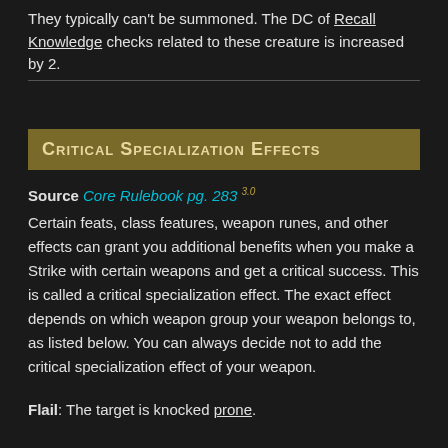They typically can't be summoned. The DC of Recall Knowledge checks related to these creature is increased by 2.
Critical Specialization Effects
Source Core Rulebook pg. 283 3.0
Certain feats, class features, weapon runes, and other effects can grant you additional benefits when you make a Strike with certain weapons and get a critical success. This is called a critical specialization effect. The exact effect depends on which weapon group your weapon belongs to, as listed below. You can always decide not to add the critical specialization effect of your weapon.
Flail: The target is knocked prone.